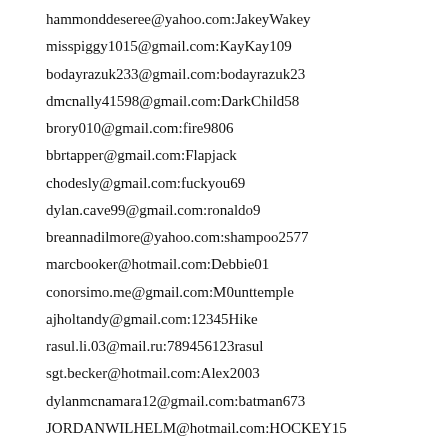hammonddeseree@yahoo.com:JakeyWakey
misspiggy1015@gmail.com:KayKay109
bodayrazuk233@gmail.com:bodayrazuk23
dmcnally41598@gmail.com:DarkChild58
brory010@gmail.com:fire9806
bbrtapper@gmail.com:Flapjack
chodesly@gmail.com:fuckyou69
dylan.cave99@gmail.com:ronaldo9
breannadilmore@yahoo.com:shampoo2577
marcbooker@hotmail.com:Debbie01
conorsimo.me@gmail.com:M0unttemple
ajholtandy@gmail.com:12345Hike
rasul.li.03@mail.ru:789456123rasul
sgt.becker@hotmail.com:Alex2003
dylanmcnamara12@gmail.com:batman673
JORDANWILHELM@hotmail.com:HOCKEY15
reebasrar@gmail.com:Rock6Rabbi
2615mikron94@i.ua:27816458mn
zanimes10@gmail.com:Anderson2311